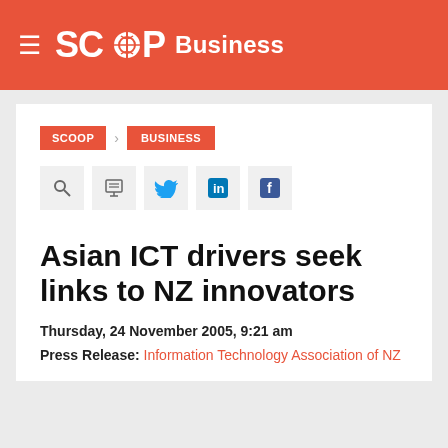SCOOP Business
SCOOP > BUSINESS
[Figure (other): Social sharing icons row: search, print, Twitter, LinkedIn, Facebook]
Asian ICT drivers seek links to NZ innovators
Thursday, 24 November 2005, 9:21 am
Press Release: Information Technology Association of NZ